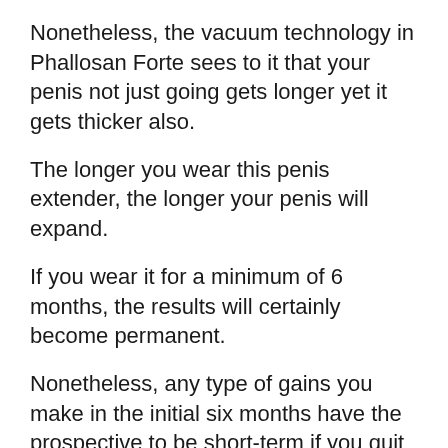Nonetheless, the vacuum technology in Phallosan Forte sees to it that your penis not just going gets longer yet it gets thicker also.
The longer you wear this penis extender, the longer your penis will expand.
If you wear it for a minimum of 6 months, the results will certainly become permanent.
Nonetheless, any type of gains you make in the initial six months have the prospective to be short-term if you quit using this penis extender.
Phallosan Strong suit is very discreet sufficient that you can wear it under your clothing without it being noticeable.